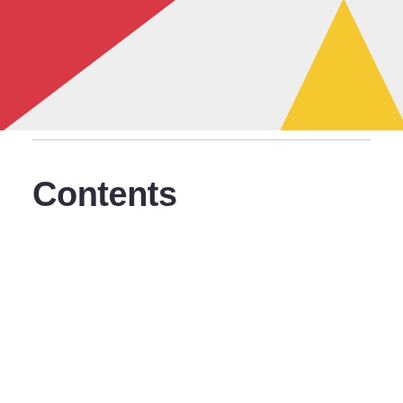[Figure (illustration): Decorative header with light grey background band. Red triangle shape in top-left corner and yellow/gold triangle shape in top-right area.]
Contents